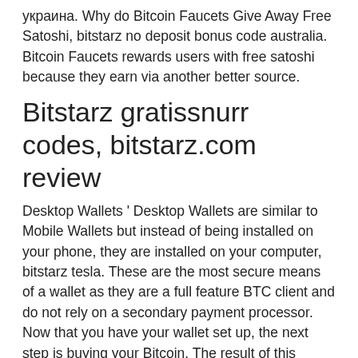украина. Why do Bitcoin Faucets Give Away Free Satoshi, bitstarz no deposit bonus code australia. Bitcoin Faucets rewards users with free satoshi because they earn via another better source.
Bitstarz gratissnurr codes, bitstarz.com review
Desktop Wallets ' Desktop Wallets are similar to Mobile Wallets but instead of being installed on your phone, they are installed on your computer, bitstarz tesla. These are the most secure means of a wallet as they are a full feature BTC client and do not rely on a secondary payment processor. Now that you have your wallet set up, the next step is buying your Bitcoin. The result of this messy situation is that BTC and other cryptocurrency